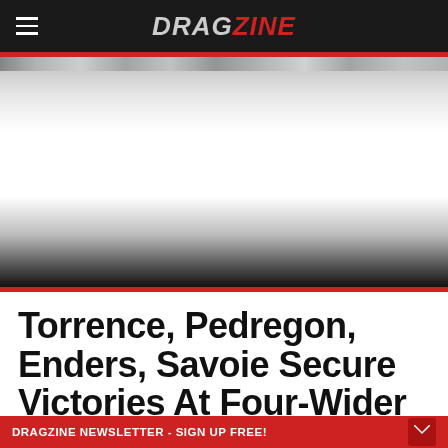DRAGZINE
[Figure (photo): Hero image area showing drag race cars at a track, largely washed out/overexposed in the center with dark areas at bottom]
Torrence, Pedregon, Enders, Savoie Secure Victories At Four-Wider
DRAGZINE NEWSLETTER - SIGN UP FREE!